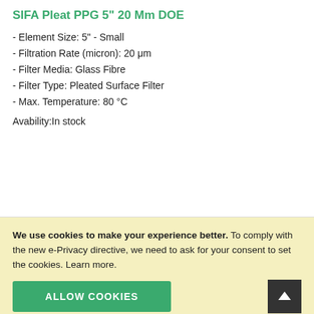SIFA Pleat PPG 5" 20 Mm DOE
- Element Size: 5" - Small
- Filtration Rate (micron): 20 μm
- Filter Media: Glass Fibre
- Filter Type: Pleated Surface Filter
- Max. Temperature: 80 °C
Avability:In stock
€20.43
ADD TO CART
We use cookies to make your experience better. To comply with the new e-Privacy directive, we need to ask for your consent to set the cookies. Learn more.
ALLOW COOKIES